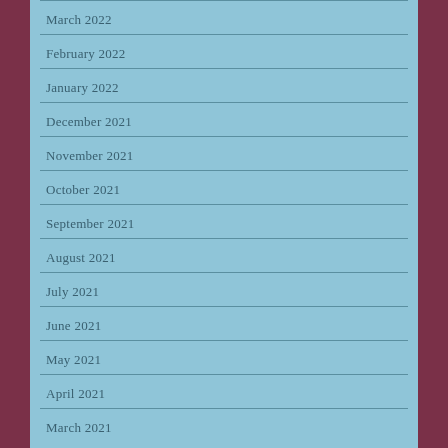March 2022
February 2022
January 2022
December 2021
November 2021
October 2021
September 2021
August 2021
July 2021
June 2021
May 2021
April 2021
March 2021